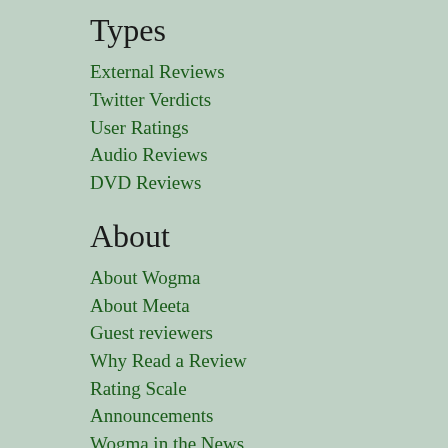Types
External Reviews
Twitter Verdicts
User Ratings
Audio Reviews
DVD Reviews
About
About Wogma
About Meeta
Guest reviewers
Why Read a Review
Rating Scale
Announcements
Wogma in the News
Subscribe
Whatsapp
Newsletter
Twitter
Facebook
RSS